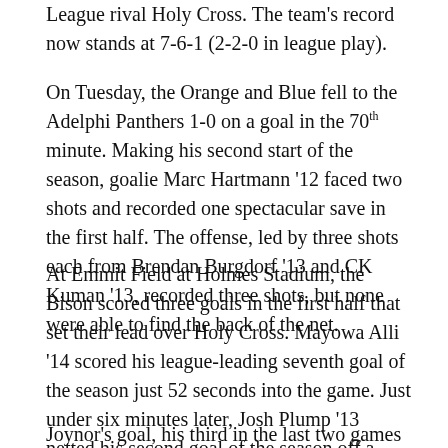League rival Holy Cross. The team's record now stands at 7-6-1 (2-2-0 in league play).
On Tuesday, the Orange and Blue fell to the Adelphi Panthers 1-0 on a goal in the 70th minute. Making his second start of the season, goalie Marc Hartmann '12 faced two shots and recorded one spectacular save in the first half. The offense, led by three shots each from Brendan Burgdorf '13 and CK Kuman '13, recorded three shots, but none were able to find the back of the net.
At Emmit Field at Holmes Stadium, the Bison scored three goals in the first half that set their lead over Holy Cross. Mayowa Alli '14 scored his league-leading seventh goal of the season just 52 seconds into the game. Just under six minutes later, Josh Plump '13 netted his second goal of the season off a pass from Burgdorf that split the back line of defenders before finding Plump.
Joynor's goal, his third in the last two games and fifth